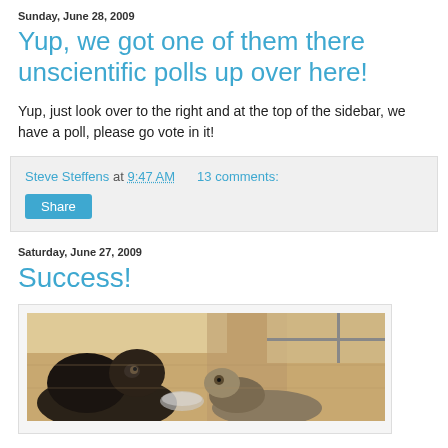Sunday, June 28, 2009
Yup, we got one of them there unscientific polls up over here!
Yup, just look over to the right and at the top of the sidebar, we have a poll, please go vote in it!
Steve Steffens at 9:47 AM   13 comments:
Share
Saturday, June 27, 2009
Success!
[Figure (photo): Photo of cats on a wooden floor, one cat appears to be eating or drinking from a bowl]